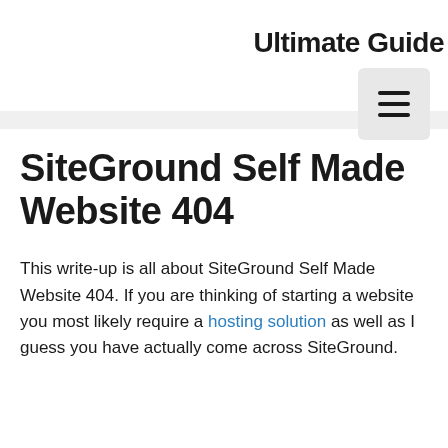Ultimate Guide
[Figure (other): Navigation menu button (hamburger icon) with three horizontal lines on a light gray rounded rectangle background]
SiteGround Self Made Website 404
This write-up is all about SiteGround Self Made Website 404. If you are thinking of starting a website you most likely require a hosting solution as well as I guess you have actually come across SiteGround.